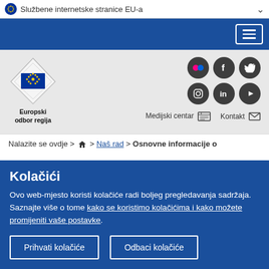Službene internetske stranice EU-a
[Figure (screenshot): Blue navigation bar with hamburger menu button (three white horizontal lines) in top right corner]
[Figure (logo): European Committee of the Regions logo - diamond shape with EU flag and text 'Europski odbor regija', with social media icons (Flickr, Facebook, Twitter, Instagram, LinkedIn, YouTube) and links to Medijski centar and Kontakt]
Nalazite se ovdje > 🏠 > Naš rad > Osnovne informacije o
Kolačići
Ovo web-mjesto koristi kolačiće radi boljeg pregledavanja sadržaja. Saznajte više o tome kako se koristimo kolačićima i kako možete promijeniti vaše postavke.
Prihvati kolačiće
Odbaci kolačiće